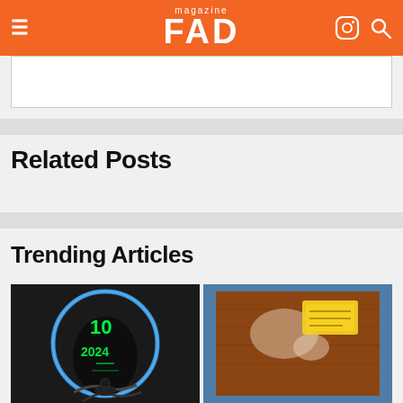FAD magazine
[Figure (screenshot): Embedded content box, partially visible, white background with border]
[Figure (other): Light gray horizontal divider bar]
Related Posts
[Figure (other): Light gray horizontal divider bar]
Trending Articles
[Figure (photo): Dark circular artwork with neon green LED text/numbers and blue rim light on black background]
[Figure (photo): Worn skateboard or wooden surface with brown texture, blue border, yellow label sticker]